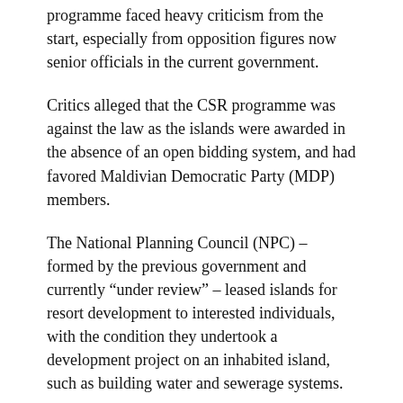programme faced heavy criticism from the start, especially from opposition figures now senior officials in the current government.
Critics alleged that the CSR programme was against the law as the islands were awarded in the absence of an open bidding system, and had favored Maldivian Democratic Party (MDP) members.
The National Planning Council (NPC) – formed by the previous government and currently “under review” – leased islands for resort development to interested individuals, with the condition they undertook a development project on an inhabited island, such as building water and sewerage systems.
The development project had to be completed to an “acceptable level” on an island of the government’s